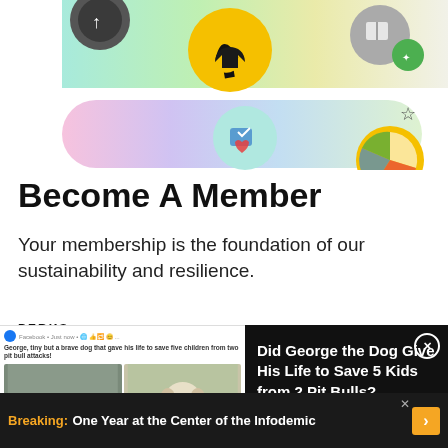[Figure (screenshot): Colorful gradient banner with app/website icons including a navigation arrow icon on gold circle, a gift/book icon on grey circle, a heart/photo icon on teal circle, a pie chart icon on gold circle, and a green badge icon. A star bookmark icon is visible on the right.]
Become A Member
Your membership is the foundation of our sustainability and resilience.
[Figure (screenshot): Advertisement overlay: left side shows a Facebook post about 'George, tiny but a brave dog that gave his life to save five children from two pit bull attacks' with photos of a dog statue and a white dog. Right side on black background reads 'Did George the Dog Give His Life to Save 5 Kids from 2 Pit Bulls?' with a close (X) button.]
[Figure (screenshot): Breaking news banner at bottom: 'Breaking: One Year at the Center of the Infodemic' with orange Breaking label and arrow button, and an X close icon.]